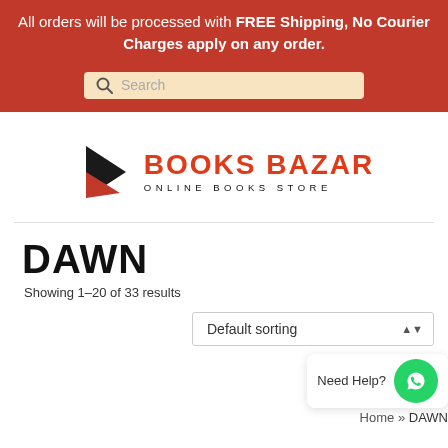All orders will be processed with FREE Shipping, No Courier Charges apply on any order.
[Figure (screenshot): Search bar with magnifying glass icon on red background]
[Figure (logo): Books Bazar Online Books Store logo with arrow/triangle graphic in black and red]
DAWN
Showing 1–20 of 33 results
Default sorting
Need Help?
Home » DAWN